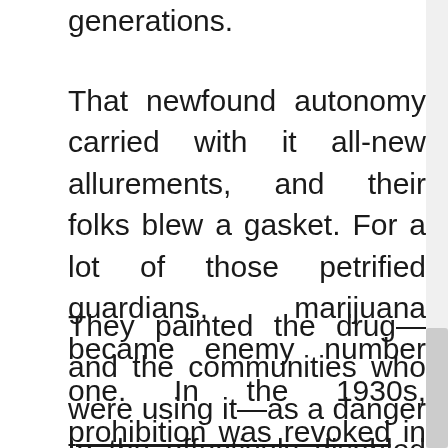generations.
That newfound autonomy carried with it all-new allurements, and their folks blew a gasket. For a lot of those petrified guardians, marijuana became enemy number one. In the 1930s, prohibition was revoked in the Great Depression. Some civil servants were looking for marijuana that the Mexican and dark communities were mostly using.
They painted the drug—and the communities who were using it—as a danger to the effectively disabled country and started banning it. Twenty-nine states had banned weed by 1931, and in 1937, the Marijuana Tax Act came, mainly addressing the herb illegally in the USA.